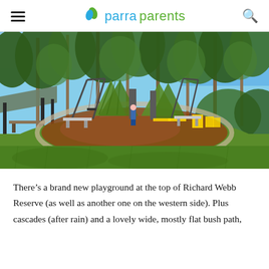parraparents
[Figure (photo): Outdoor playground at Richard Webb Reserve surrounded by tall eucalyptus trees. Features climbing frames with green netting, swings, benches, yellow play equipment, and a circular bark chip area set in wide green lawn. A covered picnic shelter is visible on the left.]
There’s a brand new playground at the top of Richard Webb Reserve (as well as another one on the western side). Plus cascades (after rain) and a lovely wide, mostly flat bush path,